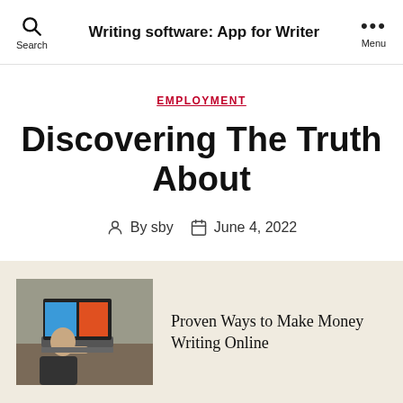Writing software: App for Writer
EMPLOYMENT
Discovering The Truth About
By sby   June 4, 2022
[Figure (photo): Thumbnail photo of a person working at a laptop computer with an orange/red screen visible]
Proven Ways to Make Money Writing Online